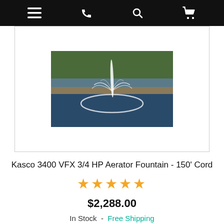Navigation bar with menu, phone, search, and cart icons
[Figure (photo): Kasco 3400 VFX aerator fountain spraying water in a pond with trees in background]
Kasco 3400 VFX 3/4 HP Aerator Fountain - 150' Cord
★★★★★
$2,288.00
In Stock  -  Free Shipping
Buy